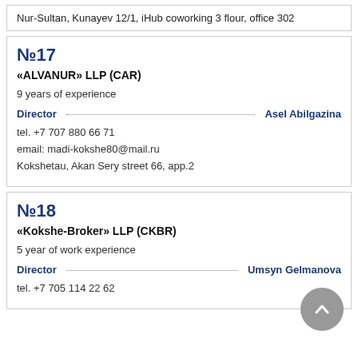Nur-Sultan, Kunayev 12/1, iHub coworking 3 flour, office 302
№17
«ALVANUR» LLP (CAR)
9 years of experience
Director   Asel Abilgazina
tel. +7 707 880 66 71
email: madi-kokshe80@mail.ru
Kokshetau, Akan Sery street 66, app.2
№18
«Kokshe-Broker» LLP (CKBR)
5 year of work experience
Director   Umsyn Gelmanova
tel. +7 705 114 22 62